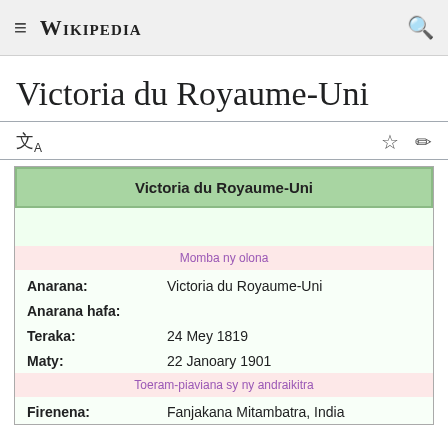≡  WIKIPEDIA  🔍
Victoria du Royaume-Uni
| Anarana: | Victoria du Royaume-Uni |
| Anarana hafa: |  |
| Teraka: | 24 Mey 1819 |
| Maty: | 22 Janoary 1901 |
| Firenena: | Fanjakana Mitambatra, India |